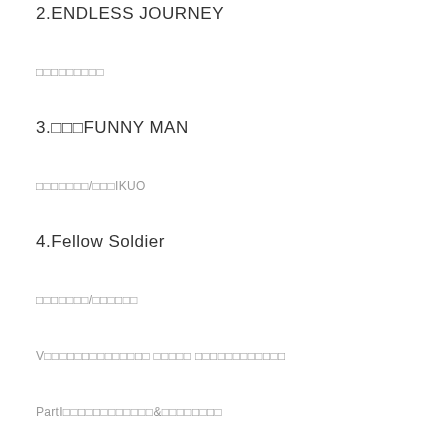2.ENDLESS JOURNEY
□□□□□□□□□
3.□□□FUNNY MAN
□□□□□□□/□□□IKUO
4.Fellow Soldier
□□□□□□□/□□□□□□
V□□□□□□□□□□□□□□ □□□□□ □□□□□□□□□□□□
PartI□□□□□□□□□□□□&□□□□□□□□